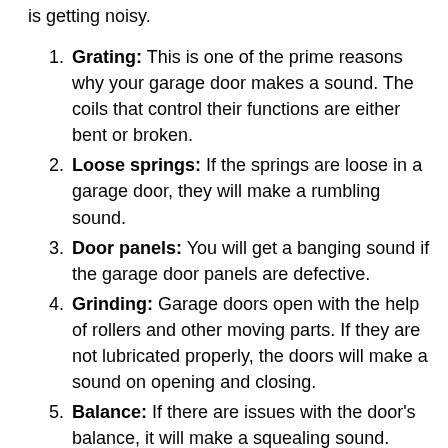is getting noisy.
Grating: This is one of the prime reasons why your garage door makes a sound. The coils that control their functions are either bent or broken.
Loose springs: If the springs are loose in a garage door, they will make a rumbling sound.
Door panels: You will get a banging sound if the garage door panels are defective.
Grinding: Garage doors open with the help of rollers and other moving parts. If they are not lubricated properly, the doors will make a sound on opening and closing.
Balance: If there are issues with the door's balance, it will make a squealing sound.
Rattling: If the chains and support rails are